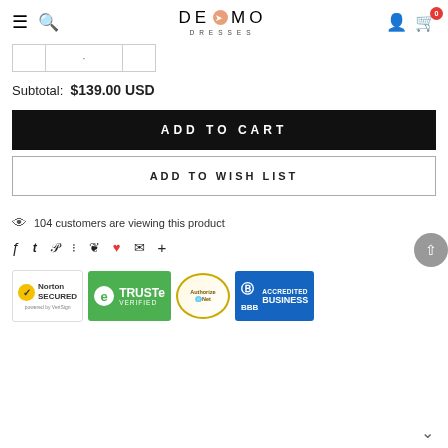DEMO DRESSES — navigation bar with hamburger menu, search, logo, user icon, cart (0)
[Figure (screenshot): Quantity selector row with three bordered boxes]
Subtotal: $139.00 USD
ADD TO CART
ADD TO WISH LIST
104 customers are viewing this product
[Figure (infographic): Social sharing icons: Facebook, Twitter, Pinterest, grid, bookmark, heart, email, plus]
[Figure (infographic): Trust badges: Norton Secured, TRUSTe Verified, Authorize.net, BBB Accredited Business]